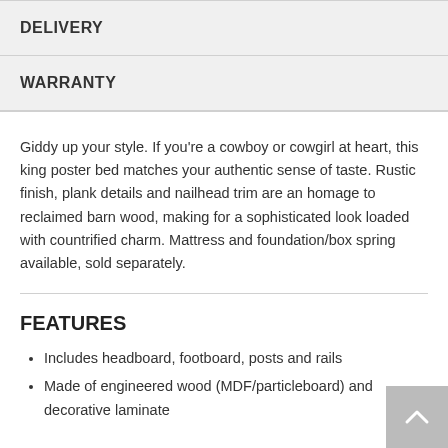DELIVERY
WARRANTY
Giddy up your style. If you're a cowboy or cowgirl at heart, this king poster bed matches your authentic sense of taste. Rustic finish, plank details and nailhead trim are an homage to reclaimed barn wood, making for a sophisticated look loaded with countrified charm. Mattress and foundation/box spring available, sold separately.
FEATURES
Includes headboard, footboard, posts and rails
Made of engineered wood (MDF/particleboard) and decorative laminate